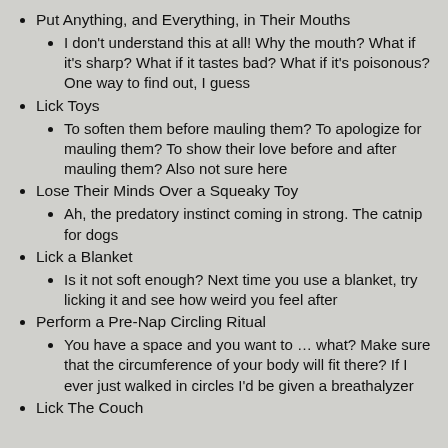Put Anything, and Everything, in Their Mouths
I don't understand this at all! Why the mouth? What if it's sharp? What if it tastes bad? What if it's poisonous? One way to find out, I guess
Lick Toys
To soften them before mauling them? To apologize for mauling them? To show their love before and after mauling them? Also not sure here
Lose Their Minds Over a Squeaky Toy
Ah, the predatory instinct coming in strong. The catnip for dogs
Lick a Blanket
Is it not soft enough? Next time you use a blanket, try licking it and see how weird you feel after
Perform a Pre-Nap Circling Ritual
You have a space and you want to … what? Make sure that the circumference of your body will fit there? If I ever just walked in circles I'd be given a breathalyzer
Lick The Couch